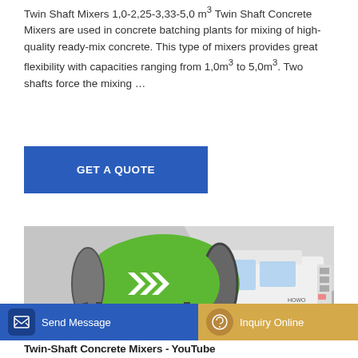Twin Shaft Mixers 1,0-2,25-3,33-5,0 m³ Twin Shaft Concrete Mixers are used in concrete batching plants for mixing of high-quality ready-mix concrete. This type of mixers provides great flexibility with capacities ranging from 1,0m³ to 5,0m³. Two shafts force the mixing …
GET A QUOTE
[Figure (photo): A green and white concrete mixer truck (HOWO brand) with a large green rotating drum bearing white chevron arrows, photographed against a concrete wall background.]
Send Message
Inquiry Online
Twin-Shaft Concrete Mixers - YouTube